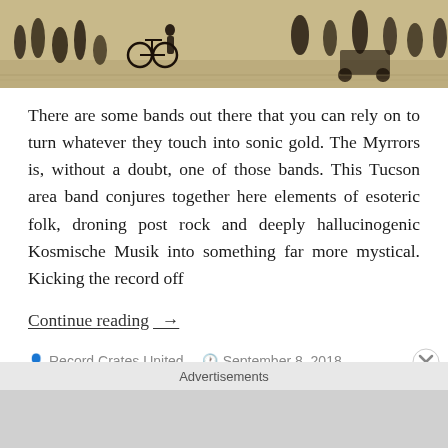[Figure (photo): Black and white vintage illustration showing people and a bicycle on a street scene, printed on aged beige/tan paper]
There are some bands out there that you can rely on to turn whatever they touch into sonic gold. The Myrrors is, without a doubt, one of those bands. This Tucson area band conjures together here elements of esoteric folk, droning post rock and deeply hallucinogenic Kosmische Musik into something far more mystical. Kicking the record off
Continue reading →
Record Crates United   September 8, 2018
acid folk, acid rock, independent rock, Kosmische Musik
Advertisements